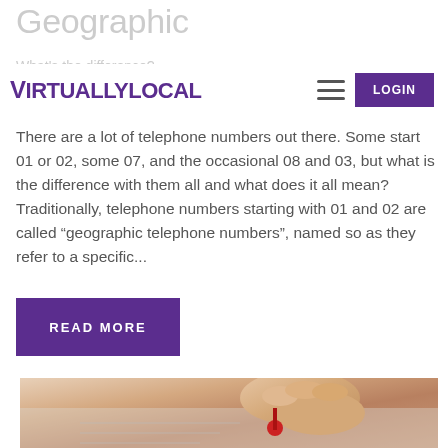Geographic
What's the difference?
VirtuallyLocal | hamburger menu | LOGIN
There are a lot of telephone numbers out there. Some start 01 or 02, some 07, and the occasional 08 and 03, but what is the difference with them all and what does it all mean?  Traditionally, telephone numbers starting with 01 and 02 are called “geographic telephone numbers”, named so as they refer to a specific...
READ MORE
[Figure (photo): A hand placing a red pin on a map or document, close-up photograph]